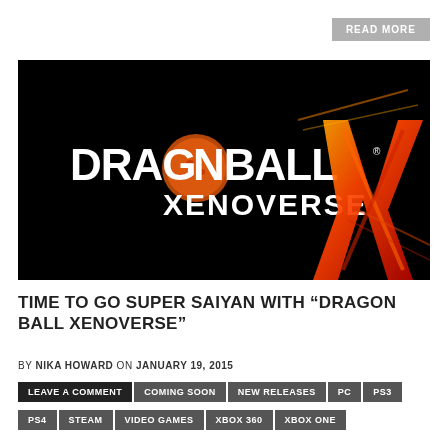READ MORE
[Figure (illustration): Dragon Ball Xenoverse logo on black background with stylized XV mark in red/orange/gold]
TIME TO GO SUPER SAIYAN WITH “DRAGON BALL XENOVERSE”
BY NIKA HOWARD ON JANUARY 19, 2015
LEAVE A COMMENT
COMING SOON
NEW RELEASES
PC
PS3
PS4
STEAM
VIDEO GAMES
XBOX 360
XBOX ONE